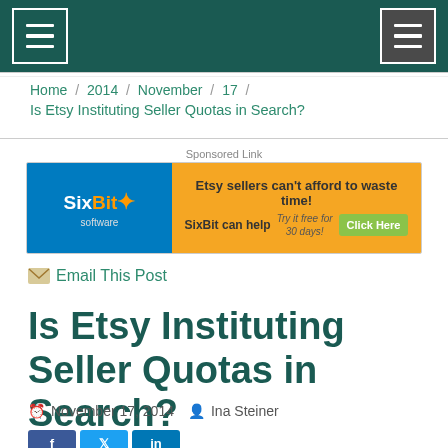Navigation header with menu icons
Home / 2014 / November / 17 / Is Etsy Instituting Seller Quotas in Search?
Sponsored Link
[Figure (other): SixBit Software advertisement banner: Etsy sellers can't afford to waste time! SixBit can help. Try it free for 30 days! Click Here]
Email This Post
Is Etsy Instituting Seller Quotas in Search?
November 17, 2014  Ina Steiner